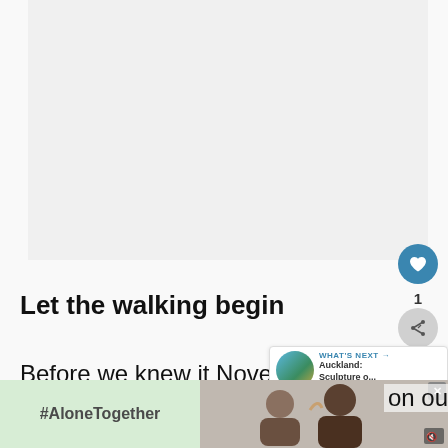[Figure (photo): Large image area at top of article, light gray placeholder]
Let the walking begin
Before we knew it November ro' around and the four of us were on the Fu... on our
[Figure (screenshot): WHAT'S NEXT callout with thumbnail image for Auckland: Sculpture o...]
[Figure (photo): Advertisement banner: #AloneTogether on left green panel, photo of two people smiling on right with close button and mute icon]